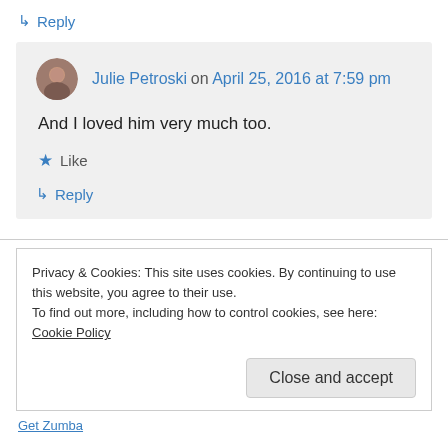↳ Reply
Julie Petroski on April 25, 2016 at 7:59 pm
And I loved him very much too.
★ Like
↳ Reply
Privacy & Cookies: This site uses cookies. By continuing to use this website, you agree to their use. To find out more, including how to control cookies, see here: Cookie Policy
Close and accept